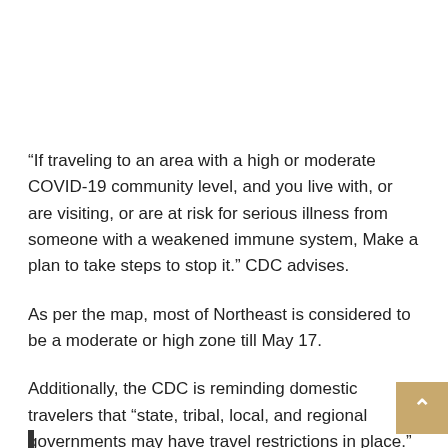“If traveling to an area with a high or moderate COVID-19 community level, and you live with, or are visiting, or are at risk for serious illness from someone with a weakened immune system, Make a plan to take steps to stop it.” CDC advises.
As per the map, most of Northeast is considered to be a moderate or high zone till May 17.
Additionally, the CDC is reminding domestic travelers that “state, tribal, local, and regional governments may have travel restrictions in place.”